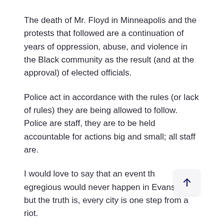The death of Mr. Floyd in Minneapolis and the protests that followed are a continuation of years of oppression, abuse, and violence in the Black community as the result (and at the approval) of elected officials.
Police act in accordance with the rules (or lack of rules) they are being allowed to follow. Police are staff, they are to be held accountable for actions big and small; all staff are.
I would love to say that an event this egregious would never happen in Evanston but the truth is, every city is one step from a riot.